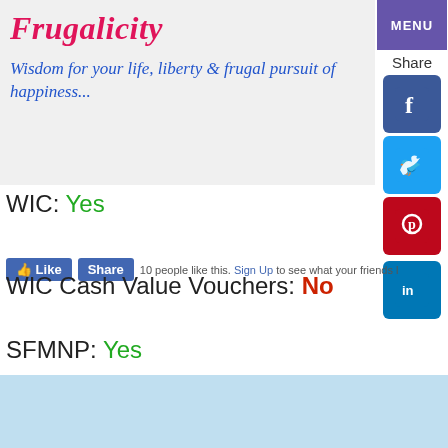Frugalicity — Wisdom for your life, liberty & frugal pursuit of happiness...
WIC: Yes
WIC Cash Value Vouchers: No
SFMNP: Yes
SNAP: Yes
This site & its partners use cookies and may utilize basic user data for improved site operation & ad personalization. Click 'Accept & Continue' to consent to this as detailed in our Privacy Policy.
Accept & Continue